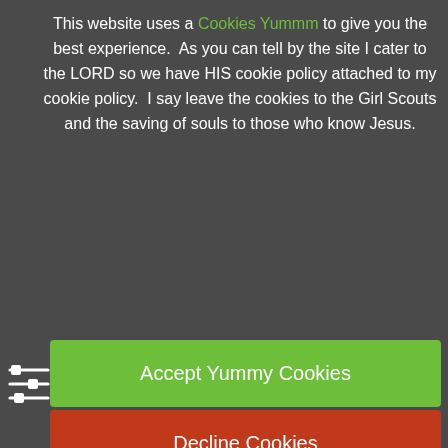This website uses a Cookies Yummm to give you the best experience.  As you can tell by the site I cater to the LORD so we have HIS cookie policy attached to my cookie policy.  I say leave the cookies to the Girl Scouts and the saving of souls to those who know Jesus.
[Figure (other): Sliders/filter icon (three horizontal lines with sliders) in white]
Accept Yummy Cookies
Decline Cookies